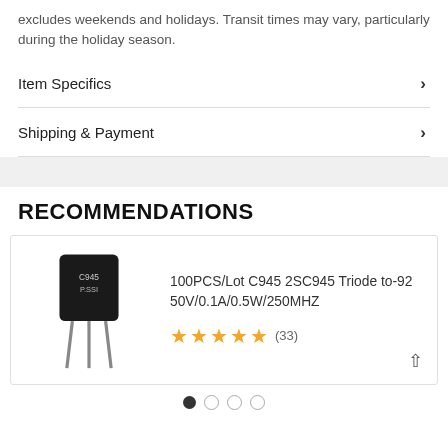excludes weekends and holidays. Transit times may vary, particularly during the holiday season.
Item Specifics
Shipping & Payment
RECOMMENDATIONS
[Figure (photo): A TO-92 transistor component (C945 2SC945) with three leads, black body, standing upright.]
100PCS/Lot C945 2SC945 Triode to-92 50V/0.1A/0.5W/250MHZ
★★★★★ (33)